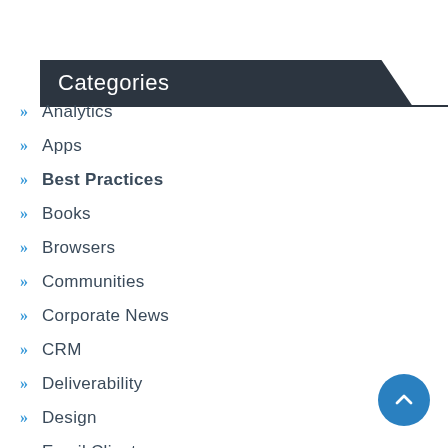Categories
Analytics
Apps
Best Practices
Books
Browsers
Communities
Corporate News
CRM
Deliverability
Design
Email Clients
Email comic